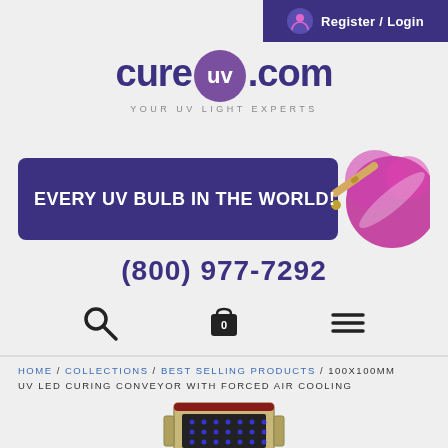Register / Login
[Figure (logo): cureUV.com logo with purple UV circle and tagline YOUR UV LIGHT EXPERTS]
[Figure (infographic): Dark purple banner with text EVERY UV BULB IN THE WORLD! and decorative UV bulb graphic with pink/magenta circles]
(800) 977-7292
[Figure (illustration): Navigation icons: search magnifying glass, shopping cart with 0, and hamburger menu]
HOME / COLLECTIONS / BEST SELLING PRODUCTS / 100X100MM UV LED CURING CONVEYOR WITH FORCED AIR COOLING
[Figure (photo): Partial photo of 100x100mm UV LED curing conveyor device, showing top portion with LED array panel]